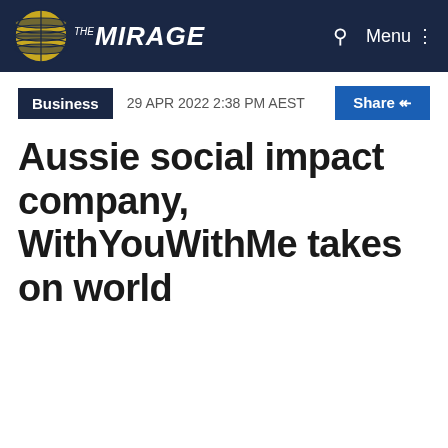THE MIRAGE
Business   29 APR 2022 2:38 PM AEST   Share
Aussie social impact company, WithYouWithMe takes on world